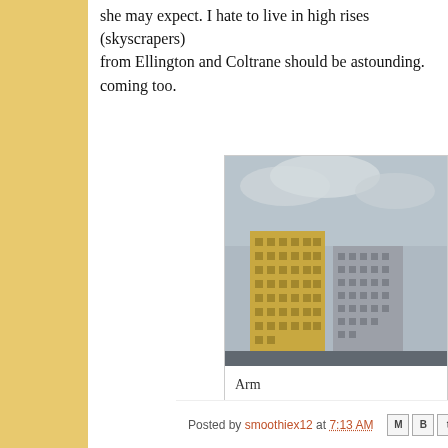she may expect. I hate to live in high rises (skyscrapers) from Ellington and Coltrane should be astounding. coming too.
[Figure (photo): Photograph of large rectangular high-rise buildings (Soviet-era architecture) against a cloudy sky, with a caption starting 'Arm']
Arm
I just thought that I share with you with Russian arc
Posted by smoothiex12 at 7:13 AM [share icons: email, blog, twitter, facebook, pinterest]